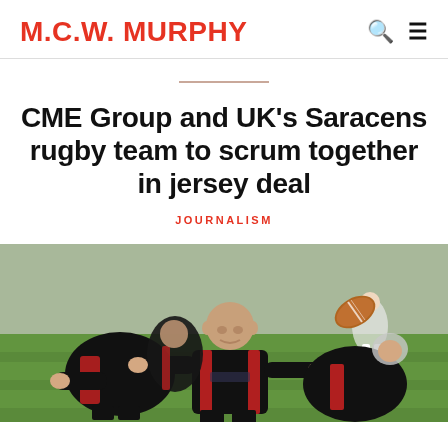M.C.W. MURPHY
CME Group and UK's Saracens rugby team to scrum together in jersey deal
JOURNALISM
[Figure (photo): Rugby players in black and red Saracens jerseys in a scrum, with a rugby ball in the air, on a green grass pitch.]